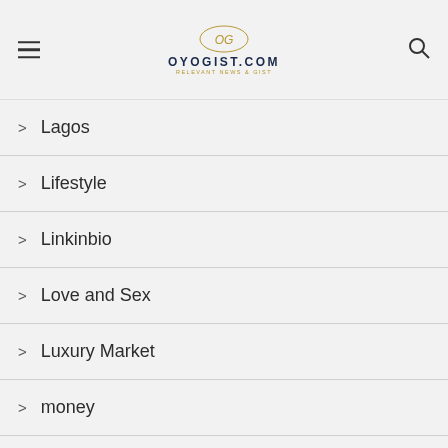OYOGIST.COM
Lagos
Lifestyle
Linkinbio
Love and Sex
Luxury Market
money
Music
Opinion
Oscars